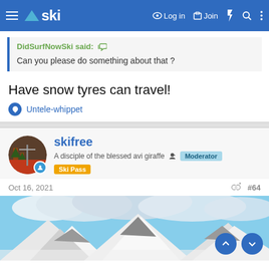ski — Log in  Join
DidSurfNowSki said: Can you please do something about that ?
Have snow tyres can travel!
Untele-whippet
skifree
A disciple of the blessed avi giraffe  Moderator  Ski Pass
Oct 16, 2021  #64
[Figure (photo): Snow-covered mountain peaks under a cloudy blue sky]